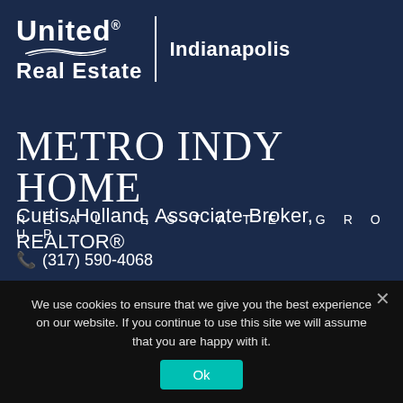[Figure (logo): United Real Estate Indianapolis logo with white text on dark navy background, featuring the company name and a swoosh graphic, separated by a vertical line from 'Indianapolis' text.]
METRO INDY HOME
REAL ESTATE GROUP
Curtis Holland, Associate Broker, REALTOR®
📞 (317) 590-4068
We use cookies to ensure that we give you the best experience on our website. If you continue to use this site we will assume that you are happy with it.